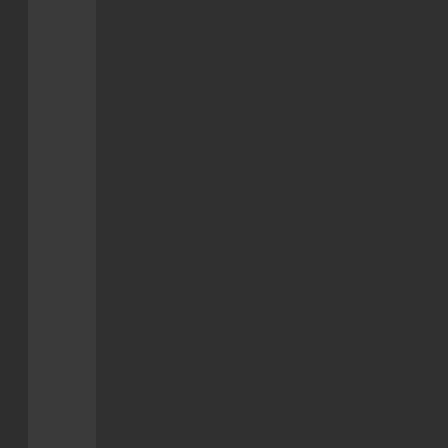bec you hav bas agr with the ana that it gov is evil, but not that it is unn Peo like Ran or Tibo Mac on